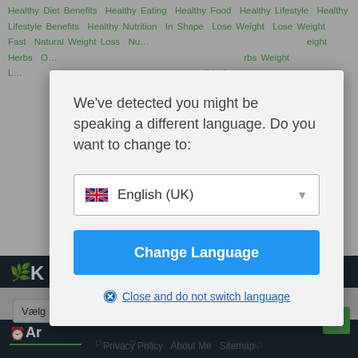[Figure (screenshot): Background webpage with green tag links about healthy diet and lifestyle topics, dark navigation sidebar, and gray footer area]
We've detected you might be speaking a different language. Do you want to change to:
English (UK)
Change Language
Close and do not switch language
Vælg måned
Privacy Policy   About Me   Sitemap